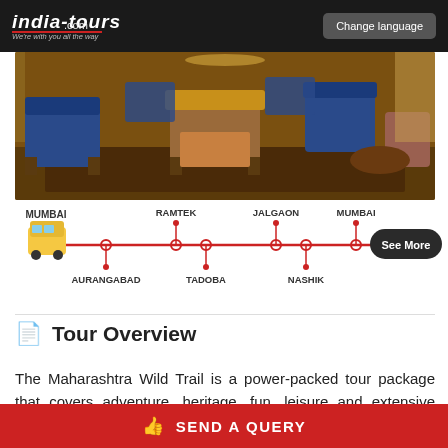india-tours .com - We're with you all the way | Change language
[Figure (photo): Interior of a luxury train/hotel lounge with ornate blue velvet chairs, gold-trimmed wooden furniture, and patterned carpet.]
[Figure (infographic): Tour route timeline showing stops: MUMBAI (start, with bus icon), AURANGABAD, RAMTEK, TADOBA, JALGAON, NASHIK, MUMBAI (end). Red line connecting all stops with circle markers. See More button at right.]
Tour Overview
The Maharashtra Wild Trail is a power-packed tour package that covers adventure, heritage, fun, leisure and extensive luxury as a whole in the 7 nights 8 days tour. The
SEND A QUERY